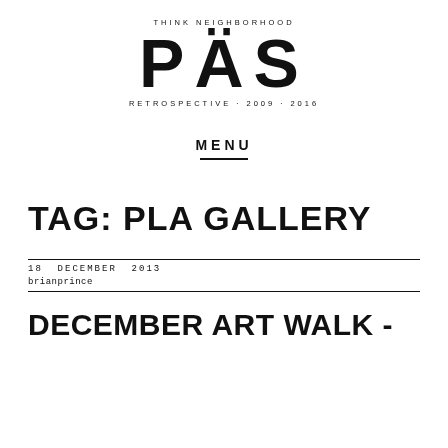THINK NEIGHBORHOOD
PÄS
RETROSPECTIVE · 2009 · 2016
MENU
TAG: PLA GALLERY
18 DECEMBER 2013
brianprince
DECEMBER ART WALK -